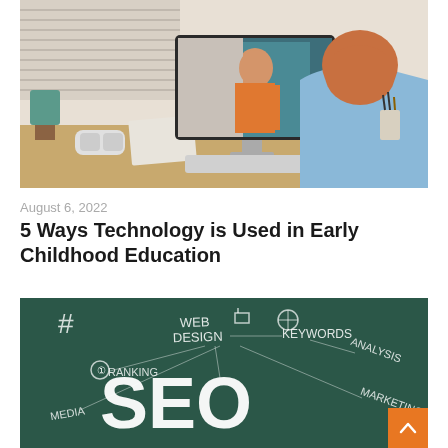[Figure (photo): Child with red hair seen from behind sitting at a desk, watching a woman in an orange top on a computer monitor screen, video call scene in a home office setting]
August 6, 2022
5 Ways Technology is Used in Early Childhood Education
[Figure (photo): Chalkboard style image with SEO written in large white letters, surrounded by related terms: Web Design, Keywords, Analysis, Marketing, Media, Ranking, and a hashtag symbol]